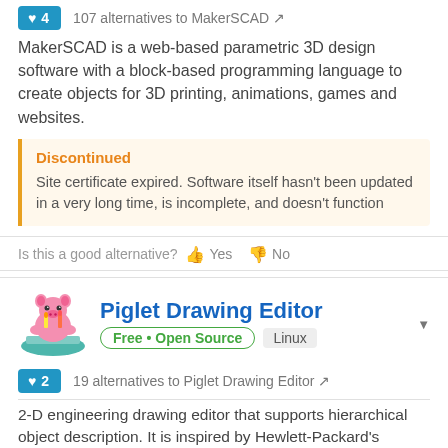♥ 4  107 alternatives to MakerSCAD
MakerSCAD is a web-based parametric 3D design software with a block-based programming language to create objects for 3D printing, animations, games and websites.
Discontinued
Site certificate expired. Software itself hasn't been updated in a very long time, is incomplete, and doesn't function
Is this a good alternative? 👍 Yes 👎 No
[Figure (illustration): Piglet Drawing Editor logo - cartoon piglet with candles sitting on a book]
Piglet Drawing Editor
Free • Open Source  Linux
♥ 2  19 alternatives to Piglet Drawing Editor
2-D engineering drawing editor that supports hierarchical object description. It is inspired by Hewlett-Packard's